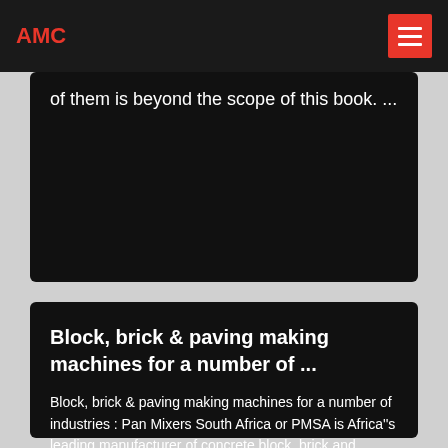AMC
of them is beyond the scope of this book. ...
Block, brick & paving making machines for a number of ...
Block, brick & paving making machines for a number of industries : Pan Mixers South Africa or PMSA is Africa''s leading manufacturer of concrete block, brick and paving making machines.Block and brick making machines are used in the production of a variety of concrete blocks and bricks, primarily within the construction industry.